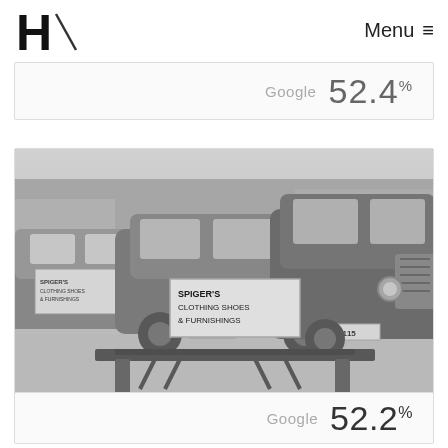H/ Menu ≡
Google 52.4%
[Figure (photo): Black and white vintage photograph showing 1930s-1940s era automobiles parked on a street in front of a store with a sign reading 'SPIGER'S CLOTHING SHOES & FURNISHINGS'. A bench is visible in the foreground. License plate D 3115 visible on front car.]
Google 52.2%